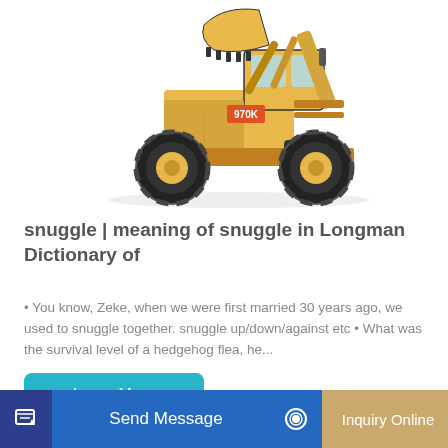[Figure (photo): Yellow CAT 970K wheel loader construction machine on white background]
snuggle | meaning of snuggle in Longman Dictionary of
• You know, Zeke, when we were first married 30 years ago, we used to snuggle together. snuggle up/down/against etc • What was the survival level of a hedgehog flea, he...
[Figure (other): Learn More button - teal/cyan rounded rectangle button]
[Figure (other): Bottom bar with Send Message button (blue) and Inquiry Online button (tan/gold)]